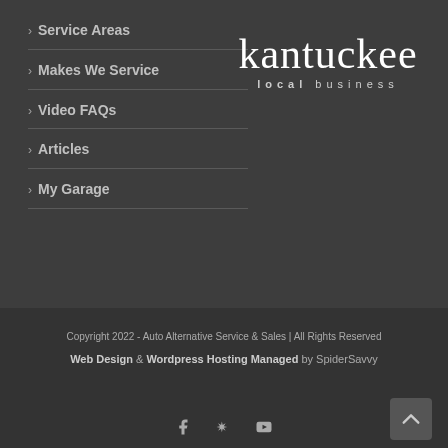> Service Areas
> Makes We Service
> Video FAQs
> Articles
> My Garage
[Figure (logo): Kantuckee local business logo — stylized text in white serif font reading 'kantuckee' with 'local business' subtitle in spaced sans-serif below]
Copyright 2022 - Auto Alternative Service & Sales | All Rights Reserved
Web Design & Wordpress Hosting Managed by SpiderSavvy